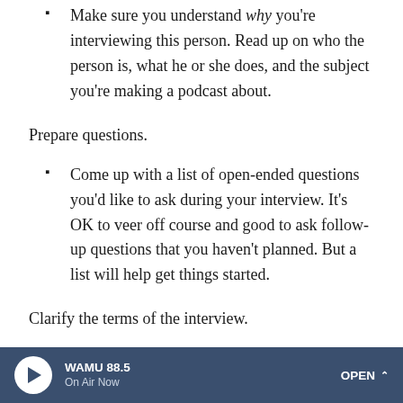Make sure you understand why you're interviewing this person. Read up on who the person is, what he or she does, and the subject you're making a podcast about.
Prepare questions.
Come up with a list of open-ended questions you'd like to ask during your interview. It's OK to veer off course and good to ask follow-up questions that you haven't planned. But a list will help get things started.
Clarify the terms of the interview.
Make sure your interviewee knows you're talking to him or her for the NPR Student Podcast Challenge.
WAMU 88.5 On Air Now OPEN